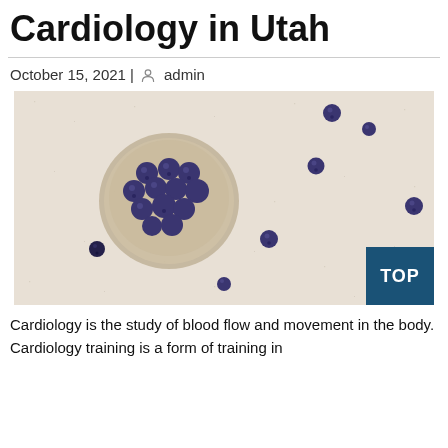Cardiology in Utah
October 15, 2021 | admin
[Figure (photo): Overhead photo of blueberries in a small glass bowl on a light beige textured surface, with several individual blueberries scattered around the bowl.]
Cardiology is the study of blood flow and movement in the body. Cardiology training is a form of training in